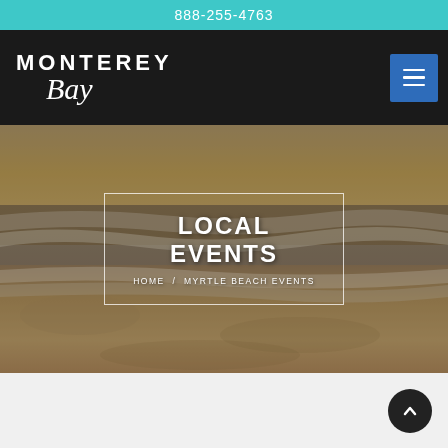888-255-4763
[Figure (logo): Monterey Bay logo in white text on dark background with hamburger menu button]
[Figure (photo): Beach shoreline with ocean waves and sandy beach as hero background image]
LOCAL EVENTS
HOME / MYRTLE BEACH EVENTS